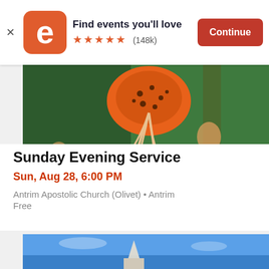Find events you'll love ★★★★★ (148k) Continue
[Figure (photo): Orange tiger lily flowers with green foliage in background]
Sunday Evening Service
Sun, Aug 28, 6:00 PM
Antrim Apostolic Church (Olivet) • Antrim
Free
[Figure (photo): Blue sky with church steeple partially visible at bottom]